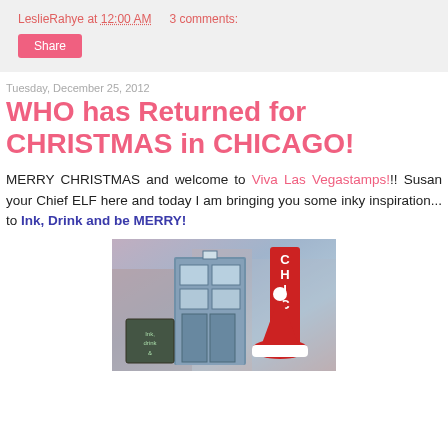LeslieRahye at 12:00 AM   3 comments:
Share
Tuesday, December 25, 2012
WHO has Returned for CHRISTMAS in CHICAGO!
MERRY CHRISTMAS and welcome to Viva Las Vegastamps!!! Susan your Chief ELF here and today I am bringing you some inky inspiration... to Ink, Drink and be MERRY!
[Figure (illustration): Illustrated image featuring a TARDIS-like blue phone box, Chicago signage in red, a Santa hat, and holiday-themed stamping artwork with 'Ink, drink &' written on a small chalkboard sign.]